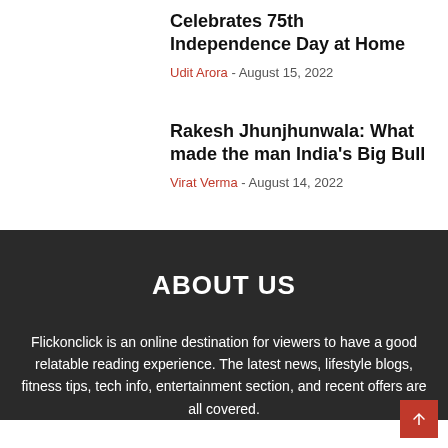Celebrates 75th Independence Day at Home
Udit Arora - August 15, 2022
Rakesh Jhunjhunwala: What made the man India's Big Bull
Virat Verma - August 14, 2022
ABOUT US
Flickonclick is an online destination for viewers to have a good relatable reading experience. The latest news, lifestyle blogs, fitness tips, tech info, entertainment section, and recent offers are all covered.